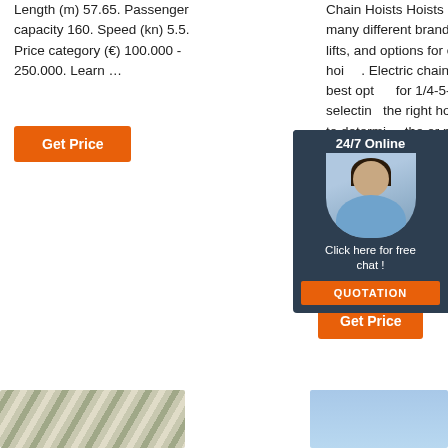Length (m) 57.65. Passenger capacity 160. Speed (kn) 5.5. Price category (€) 100.000 - 250.000. Learn …
[Figure (other): Orange 'Get Price' button]
Chain Hoists Hoists Direct offers many different brands, capacities, lifts, and options for electric chain hoist. Electric chain hoists are the best option for 1/4-5-tons choosing the right hoist you need to determine the power or power supply (single phase or 3 phase), lift height (length of chain), suspension (hook, geared trolley, motorized trolley …
[Figure (photo): Chat popup overlay with a customer service representative photo, '24/7 Online' header, 'Click here for free chat!' text, and orange QUOTATION button]
[Figure (other): Orange 'Get Price' button on right side with decorative dots and upload icon]
[Figure (photo): Bottom left: close-up image of coiled rope or chain texture]
[Figure (photo): Bottom right: blue-tinted product image]